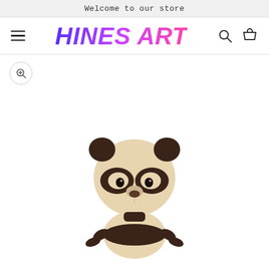Welcome to our store
HINES ART
[Figure (screenshot): Navigation bar with hamburger menu, HINES ART logo in gradient purple-to-pink color, search icon, and cart icon]
[Figure (photo): A wooden panda figurine/toy with a round light-colored head, dark brown ears and eye patches, and articulated dark brown arms and body, photographed against a white background. Only the head, upper body and arms are visible, cropped at the bottom.]